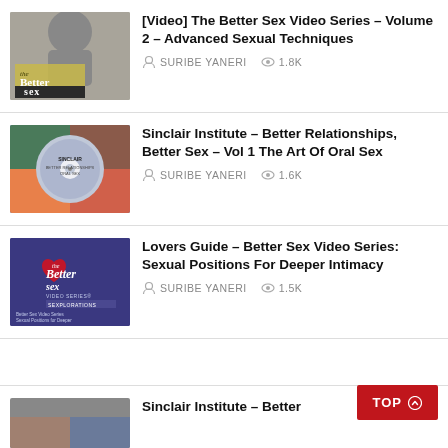[Video] The Better Sex Video Series – Volume 2 – Advanced Sexual Techniques | SURIBE YANERI | 1.8K
Sinclair Institute – Better Relationships, Better Sex – Vol 1 The Art Of Oral Sex | SURIBE YANERI | 1.6K
Lovers Guide – Better Sex Video Series: Sexual Positions For Deeper Intimacy | SURIBE YANERI | 1.5K
Sinclair Institute – Better